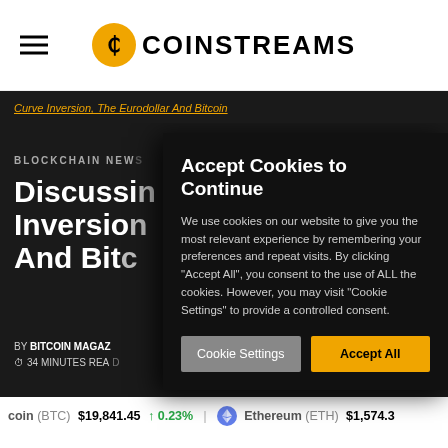COINSTREAMS
Curve Inversion, The Eurodollar And Bitcoin
BLOCKCHAIN NEWS
Discussing Inversion, And Bitcoin
BY BITCOIN MAGAZINE
34 MINUTES READ
Accept Cookies to Continue
We use cookies on our website to give you the most relevant experience by remembering your preferences and repeat visits. By clicking "Accept All", you consent to the use of ALL the cookies. However, you may visit "Cookie Settings" to provide a controlled consent.
Bitcoin (BTC) $19,841.45 ↑ 0.23%   Ethereum (ETH) $1,574.3